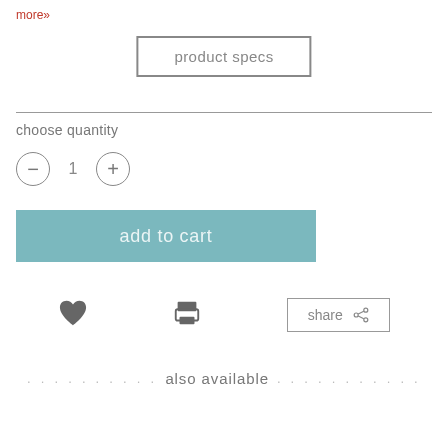more»
product specs
choose quantity
1
[Figure (illustration): Add to cart teal button with text 'add to cart']
[Figure (illustration): Heart icon (wishlist), print icon, and share button with share icon]
also available